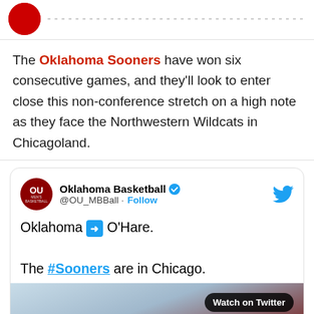The Oklahoma Sooners have won six consecutive games, and they'll look to enter close this non-conference stretch on a high note as they face the Northwestern Wildcats in Chicagoland.
[Figure (screenshot): Embedded tweet from Oklahoma Basketball (@OU_MBBall) with verified badge. Tweet text: 'Oklahoma ➡ O'Hare. The #Sooners are in Chicago.' with a video thumbnail showing an airplane and a 'Watch on Twitter' badge.]